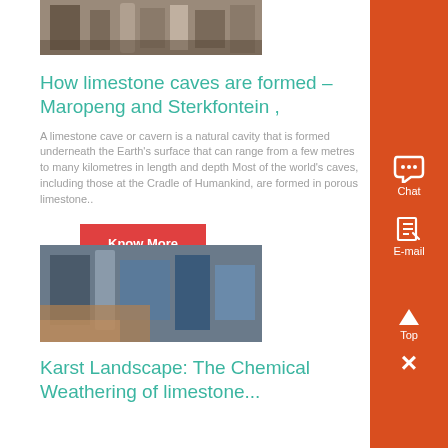[Figure (photo): Industrial machinery or workshop equipment, top portion visible]
How limestone caves are formed – Maropeng and Sterkfontein ,
A limestone cave or cavern is a natural cavity that is formed underneath the Earth's surface that can range from a few metres to many kilometres in length and depth Most of the world's caves, including those at the Cradle of Humankind, are formed in porous limestone..
Know More
[Figure (photo): Industrial or mechanical setting with blue and metallic structures]
Karst Landscape: The Chemical Weathering of limestone...